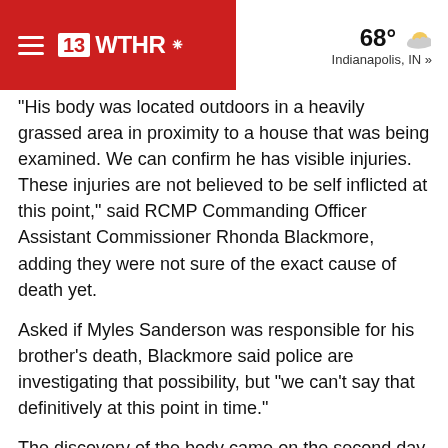13 WTHR — 68° Indianapolis, IN »
"His body was located outdoors in a heavily grassed area in proximity to a house that was being examined. We can confirm he has visible injuries. These injuries are not believed to be self inflicted at this point," said RCMP Commanding Officer Assistant Commissioner Rhonda Blackmore, adding they were not sure of the exact cause of death yet.
Asked if Myles Sanderson was responsible for his brother's death, Blackmore said police are investigating that possibility, but "we can't say that definitively at this point in time."
The discovery of the body came on the second day of a massive manhunt for the pair, who are suspected of carrying out a series of stabbings in an Indigenous community and a nearby town, which also left 18 people injured. It was the deadliest attacks in the nation's history.
Authorities have said some of the victims were targeted